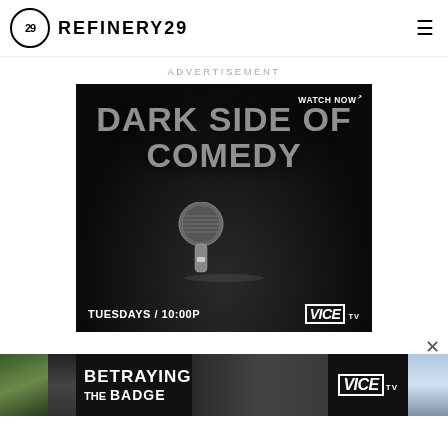REFINERY29
ADVERTISEMENT
[Figure (photo): Dark Side of Comedy - VICE TV advertisement. Black background with large bold text reading DARK SIDE OF COMEDY, a dropped microphone in spotlight, text TUESDAYS / 10:00P, WATCH NOW with arrow, and VICE TV logo.]
[Figure (photo): Betraying the Badge - VICE TV banner advertisement strip at bottom of page with partial side images.]